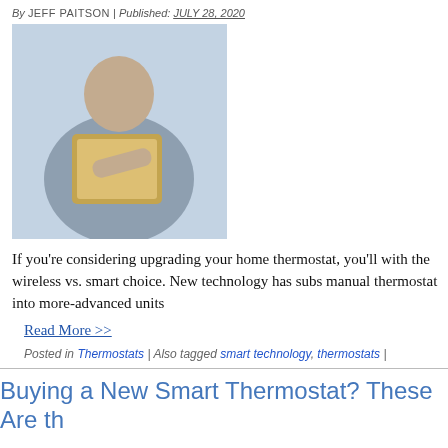By JEFF PAITSON | Published: JULY 28, 2020
[Figure (photo): Person sitting and using a tablet device, wearing a grey top]
If you're considering upgrading your home thermostat, you'll with the wireless vs. smart choice. New technology has subs manual thermostat into more-advanced units
Read More >>
Posted in Thermostats | Also tagged smart technology, thermostats |
Buying a New Smart Thermostat? These Are th
By JEFF PAITSON | Published: JULY 9, 2020
[Figure (photo): Man looking sideways, partial view, with a geometric shape overlay]